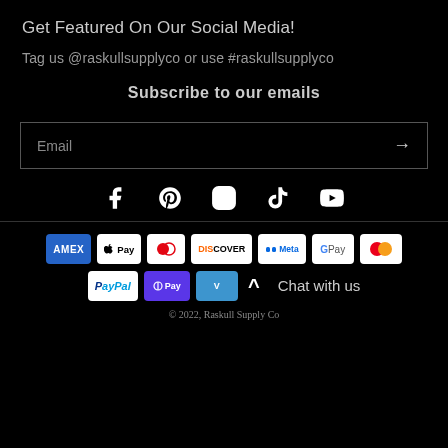Get Featured On Our Social Media!
Tag us @raskullsupplyco or use #raskullsupplyco
Subscribe to our emails
Email →
[Figure (infographic): Social media icons row: Facebook, Pinterest, Instagram, TikTok, YouTube]
[Figure (infographic): Payment method icons: Amex, Apple Pay, Diners Club, Discover, Meta Pay, Google Pay, Mastercard, PayPal, OPay, Venmo, Shop Pay]
Chat with us
© 2022, Raskull Supply Co